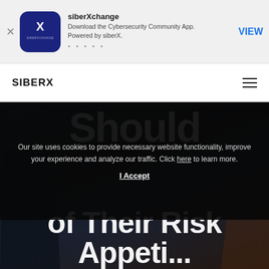[Figure (screenshot): App store banner for siberXchange app with navy blue icon featuring X logo]
siberXchange
Download the Cybersecurity Community App.
Powered by siberX.
• • • • •
VIEW
SIBERX
[Figure (photo): Dark background hero image showing cybersecurity themed scene with figure silhouettes and blue lighting]
Should
Our site uses cookies to provide necessary website functionality, improve your experience and analyze our traffic. Click here to learn more.
I Accept
of Their Risk
Appeti...